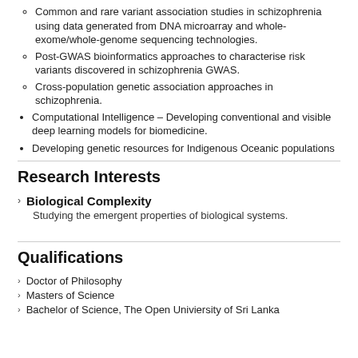Common and rare variant association studies in schizophrenia using data generated from DNA microarray and whole-exome/whole-genome sequencing technologies.
Post-GWAS bioinformatics approaches to characterise risk variants discovered in schizophrenia GWAS.
Cross-population genetic association approaches in schizophrenia.
Computational Intelligence – Developing conventional and visible deep learning models for biomedicine.
Developing genetic resources for Indigenous Oceanic populations
Research Interests
Biological Complexity
Studying the emergent properties of biological systems.
Qualifications
Doctor of Philosophy
Masters of Science
Bachelor of Science, The Open Univiersity of Sri Lanka